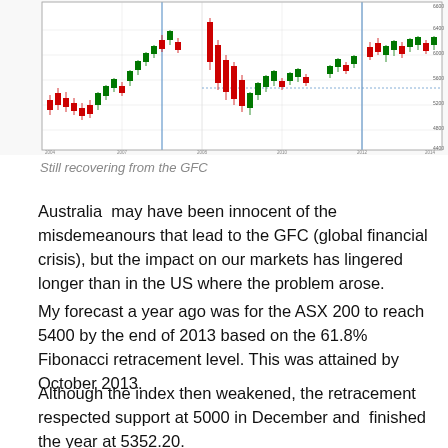[Figure (continuous-plot): Stock market chart showing candlestick/price data over time, described as 'Still recovering from the GFC'. Chart shows price movements with red and green candles across a long time period.]
Still recovering from the GFC
Australia  may have been innocent of the misdemeanours that lead to the GFC (global financial crisis), but the impact on our markets has lingered longer than in the US where the problem arose.
My forecast a year ago was for the ASX 200 to reach 5400 by the end of 2013 based on the 61.8% Fibonacci retracement level. This was attained by October 2013.
Although the index then weakened, the retracement respected support at 5000 in December and  finished the year at 5352.20.